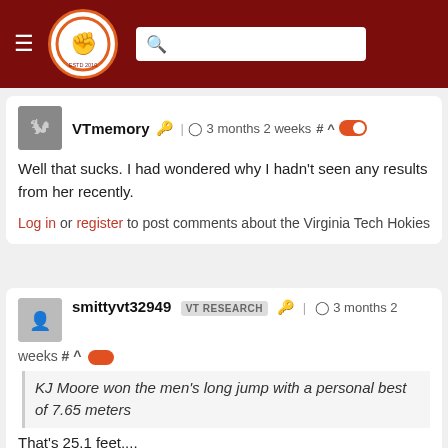The Key Play - navigation header with logo and search bar
VTmemory | 3 months 2 weeks # ^
Well that sucks. I had wondered why I hadn't seen any results from her recently.
Log in or register to post comments about the Virginia Tech Hokies
smittyvt32949 VT RESEARCH | 3 months 2 weeks # ^
KJ Moore won the men's long jump with a personal best of 7.65 meters
That's 25.1 feet....